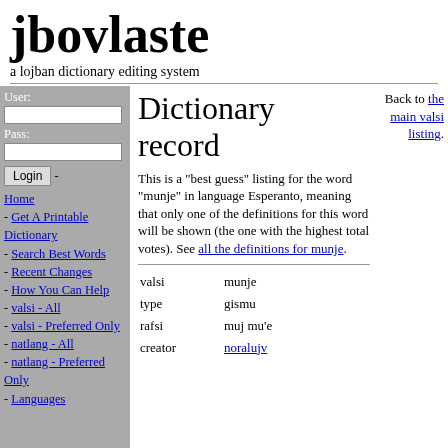jbovlaste
a lojban dictionary editing system
User: [input] Pass: [input] Login
- Home
- Get A Printable Dictionary
- Search Best Words
- Recent Changes
- How You Can Help
- valsi - All
- valsi - Preferred Only
- natlang - All
- natlang - Preferred Only
- Languages
Dictionary record
This is a "best guess" listing for the word "munje" in language Esperanto, meaning that only one of the definitions for this word will be shown (the one with the highest total votes). See all the definitions for munje.
Back to the main valsi listing.
| field | value |
| --- | --- |
| valsi | munje |
| type | gismu |
| rafsi | muj mu'e |
| creator | noralujv |